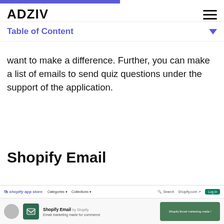ADZIV
Table of Content
want to make a difference. Further, you can make a list of emails to send quiz questions under the support of the application.
Shopify Email
[Figure (screenshot): Screenshot of Shopify App Store page showing Shopify Email app by Shopify with 'Email marketing made for commerce' description and a green Log in button in the navigation.]